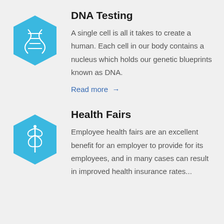[Figure (illustration): Blue hexagon icon with a white DNA double helix symbol inside]
DNA Testing
A single cell is all it takes to create a human. Each cell in our body contains a nucleus which holds our genetic blueprints known as DNA.
Read more →
[Figure (illustration): Blue hexagon icon with a white caduceus medical symbol inside]
Health Fairs
Employee health fairs are an excellent benefit for an employer to provide for its employees, and in many cases can result in improved health insurance rates...